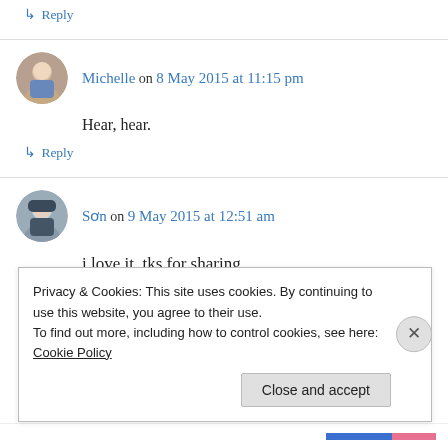↳ Reply
Michelle on 8 May 2015 at 11:15 pm
Hear, hear.
↳ Reply
Sơn on 9 May 2015 at 12:51 am
i love it, tks for sharing
Privacy & Cookies: This site uses cookies. By continuing to use this website, you agree to their use.
To find out more, including how to control cookies, see here: Cookie Policy